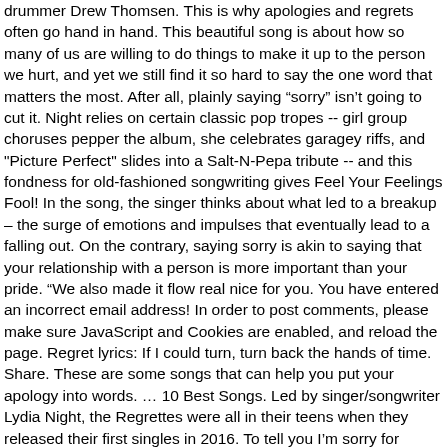drummer Drew Thomsen. This is why apologies and regrets often go hand in hand. This beautiful song is about how so many of us are willing to do things to make it up to the person we hurt, and yet we still find it so hard to say the one word that matters the most. After all, plainly saying “sorry” isn’t going to cut it. Night relies on certain classic pop tropes -- girl group choruses pepper the album, she celebrates garagey riffs, and "Picture Perfect" slides into a Salt-N-Pepa tribute -- and this fondness for old-fashioned songwriting gives Feel Your Feelings Fool! In the song, the singer thinks about what led to a breakup – the surge of emotions and impulses that eventually lead to a falling out. On the contrary, saying sorry is akin to saying that your relationship with a person is more important than your pride. “We also made it flow real nice for you. You have entered an incorrect email address! In order to post comments, please make sure JavaScript and Cookies are enabled, and reload the page. Regret lyrics: If I could turn, turn back the hands of time. Share. These are some songs that can help you put your apology into words. … 10 Best Songs. Led by singer/songwriter Lydia Night, the Regrettes were all in their teens when they released their first singles in 2016. To tell you I’m sorry for breaking your heart, But it don’t matter, it clearly doesn’t tear you apart anymore. The kind of feeling where you know someone will someday regret what they’re doing? As we wait to hear what else is coming in the wake of the My Chemical Romance reunion reveal, take a look at Billboardâ€™s top 15 My Chem songs and see if you